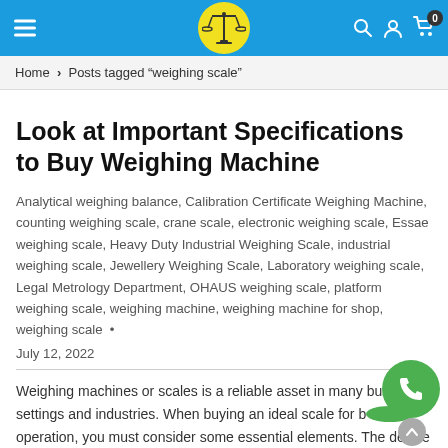Navigation bar with hamburger menu, logo, search, user, and cart icons
Home > Posts tagged “weighing scale”
Look at Important Specifications to Buy Weighing Machine
Analytical weighing balance, Calibration Certificate Weighing Machine, counting weighing scale, crane scale, electronic weighing scale, Essae weighing scale, Heavy Duty Industrial Weighing Scale, industrial weighing scale, Jewellery Weighing Scale, Laboratory weighing scale, Legal Metrology Department, OHAUS weighing scale, platform weighing scale, weighing machine, weighing machine for shop, weighing scale •
July 12, 2022
Weighing machines or scales is a reliable asset in many business settings and industries. When buying an ideal scale for business operation, you must consider some essential elements. The device